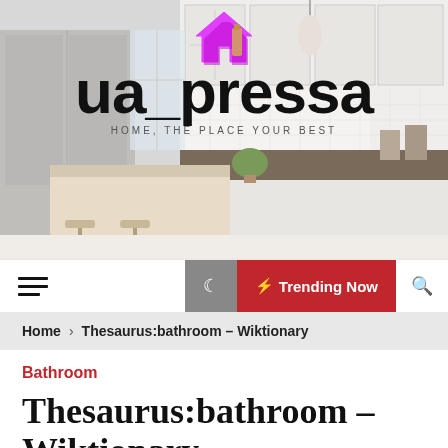[Figure (photo): Website header banner showing a modern white kitchen interior with island, bar stools, pendant light, and white subway tile backsplash. Overlaid with 'ua_pressa' logo (with a pink/magenta house icon) and tagline 'HOME, THE PLACE YOUR BEST'.]
≡  ☾  ⚡ Trending Now  🔍
Home > Thesaurus:bathroom – Wiktionary
Bathroom
Thesaurus:bathroom – Wiktionary